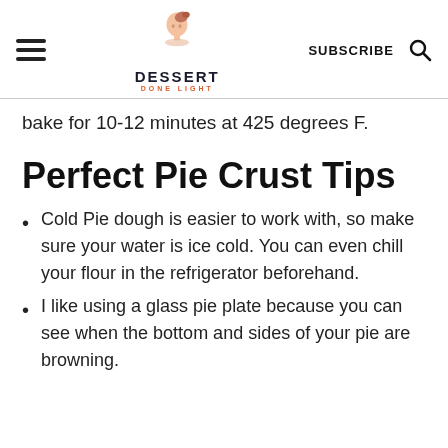DESSERT DONE LIGHT | SUBSCRIBE
bake for 10-12 minutes at 425 degrees F.
Perfect Pie Crust Tips
Cold Pie dough is easier to work with, so make sure your water is ice cold. You can even chill your flour in the refrigerator beforehand.
I like using a glass pie plate because you can see when the bottom and sides of your pie are browning.